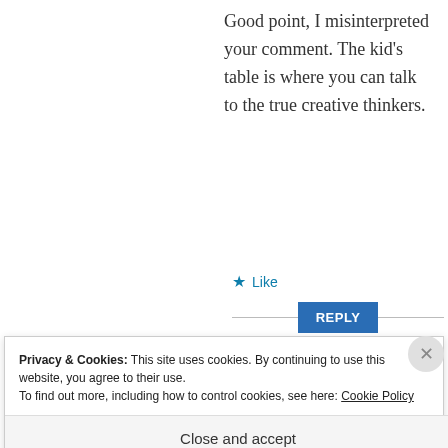Good point, I misinterpreted your comment. The kid's table is where you can talk to the true creative thinkers.
★ Like
REPLY
Privacy & Cookies: This site uses cookies. By continuing to use this website, you agree to their use.
To find out more, including how to control cookies, see here: Cookie Policy
Close and accept